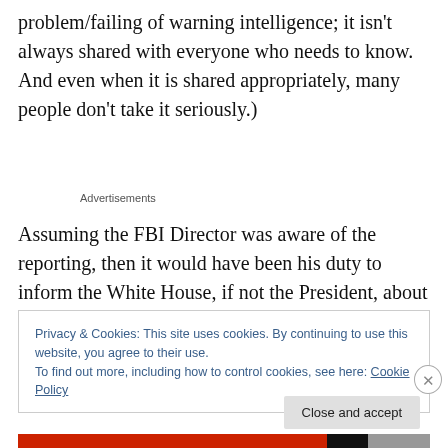problem/failing of warning intelligence; it isn't always shared with everyone who needs to know. And even when it is shared appropriately, many people don't take it seriously.)
Advertisements
Assuming the FBI Director was aware of the reporting, then it would have been his duty to inform the White House, if not the President, about the possibility of criminal
Privacy & Cookies: This site uses cookies. By continuing to use this website, you agree to their use.
To find out more, including how to control cookies, see here: Cookie Policy